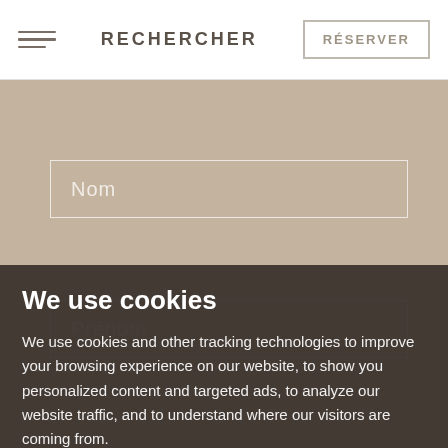RECHERCHER
Nom
Prénom
We use cookies
We use cookies and other tracking technologies to improve your browsing experience on our website, to show you personalized content and targeted ads, to analyze our website traffic, and to understand where our visitors are coming from.
I agree